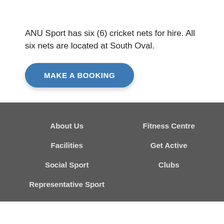ANU Sport has six (6) cricket nets for hire. All six nets are located at South Oval.
[Figure (other): Blue rounded button labeled MAKE A BOOKING]
About Us | Facilities | Social Sport | Representative Sport | Fitness Centre | Get Active | Clubs